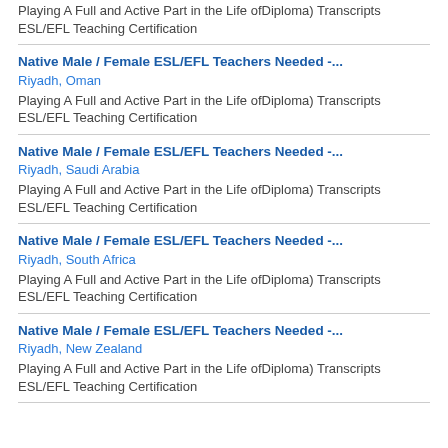Playing A Full and Active Part in the Life ofDiploma) Transcripts ESL/EFL Teaching Certification
Native Male / Female ESL/EFL Teachers Needed -...
Riyadh, Oman
Playing A Full and Active Part in the Life ofDiploma) Transcripts ESL/EFL Teaching Certification
Native Male / Female ESL/EFL Teachers Needed -...
Riyadh, Saudi Arabia
Playing A Full and Active Part in the Life ofDiploma) Transcripts ESL/EFL Teaching Certification
Native Male / Female ESL/EFL Teachers Needed -...
Riyadh, South Africa
Playing A Full and Active Part in the Life ofDiploma) Transcripts ESL/EFL Teaching Certification
Native Male / Female ESL/EFL Teachers Needed -...
Riyadh, New Zealand
Playing A Full and Active Part in the Life ofDiploma) Transcripts ESL/EFL Teaching Certification